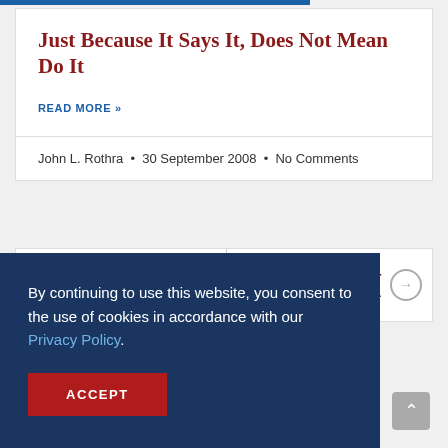Just Because It Says It, Does Not Mean Do It
READ MORE »
John L. Rothra • 30 September 2008 • No Comments
PREVIOUS
NEXT
olo...
By continuing to use this website, you consent to the use of cookies in accordance with our Privacy Policy.
ACCEPT